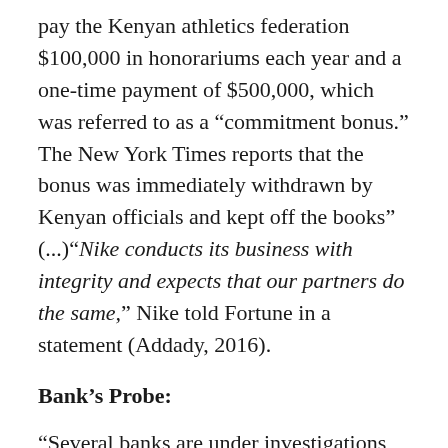pay the Kenyan athletics federation $100,000 in honorariums each year and a one-time payment of $500,000, which was referred to as a “commitment bonus.” The New York Times reports that the bonus was immediately withdrawn by Kenyan officials and kept off the books” (...)“Nike conducts its business with integrity and expects that our partners do the same,” Nike told Fortune in a statement (Addady, 2016).
Bank’s Probe:
“Several banks are under investigations after a major tax evasion ring was busted at a border entry point. The racket, said to cost the